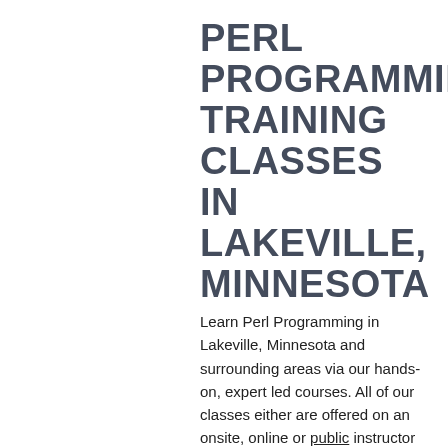PERL PROGRAMMING TRAINING CLASSES IN LAKEVILLE, MINNESOTA
Learn Perl Programming in Lakeville, Minnesota and surrounding areas via our hands-on, expert led courses. All of our classes either are offered on an onsite, online or public instructor led basis. Here is a list of our current Perl Programming related training offerings in Lakeville,